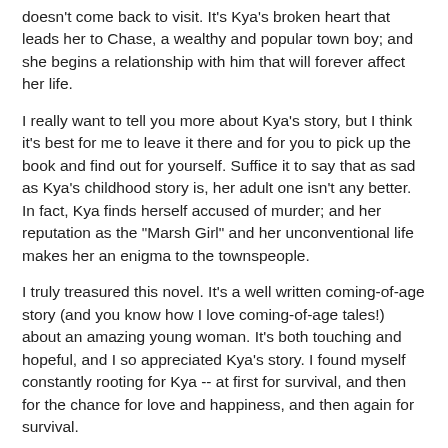doesn't come back to visit. It's Kya's broken heart that leads her to Chase, a wealthy and popular town boy; and she begins a relationship with him that will forever affect her life.
I really want to tell you more about Kya's story, but I think it's best for me to leave it there and for you to pick up the book and find out for yourself. Suffice it to say that as sad as Kya's childhood story is, her adult one isn't any better. In fact, Kya finds herself accused of murder; and her reputation as the "Marsh Girl" and her unconventional life makes her an enigma to the townspeople.
I truly treasured this novel. It's a well written coming-of-age story (and you know how I love coming-of-age tales!) about an amazing young woman. It's both touching and hopeful, and I so appreciated Kya's story. I found myself constantly rooting for Kya -- at first for survival, and then for the chance for love and happiness, and then again for survival.
I was seriously impressed with Ms. Owens' and her storytelling abilities. It goes without saying that Kya's story is a special one, but I absolutely loved how the author chose to